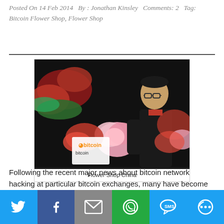Posted On 14 Feb 2014   By : Jonathan Kinsley   Comments: 2   Tag: Bitcoin Flower Shop, Flower Shop
[Figure (photo): A man holding a bouquet of pink flowers at a flower shop with a Bitcoin sign visible among the flowers]
Flower Shop China
Following the recent major news about bitcoin network hacking at particular bitcoin exchanges, many have become alarmed about the digital currency.